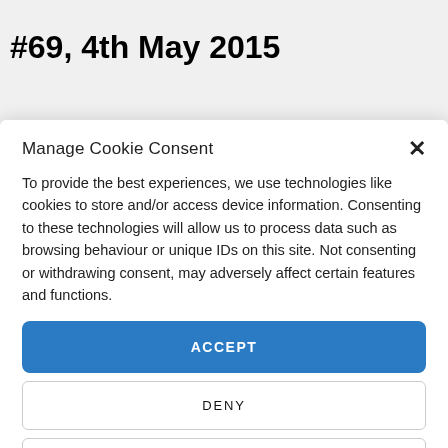#69, 4th May 2015
Manage Cookie Consent
To provide the best experiences, we use technologies like cookies to store and/or access device information. Consenting to these technologies will allow us to process data such as browsing behaviour or unique IDs on this site. Not consenting or withdrawing consent, may adversely affect certain features and functions.
ACCEPT
DENY
VIEW PREFERENCES
Cookie Policy  Privacy Policy